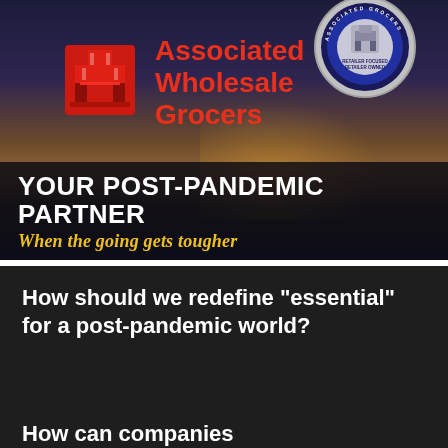[Figure (photo): Associated Wholesale Grocers building sign at dusk/night with red AWG logo and company name. Badge/seal in top right corner reads 'Retailer Focused, Retailer Owned'. Dark overlay at bottom with white bold text 'YOUR POST-PANDEMIC PARTNER' and yellow italic script 'When the going gets tougher'.]
How should we redefine "essential" for a post-pandemic world?
How can companies